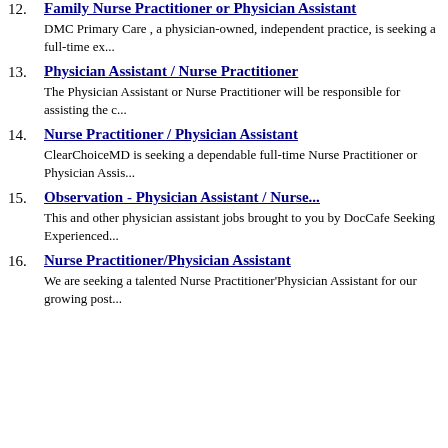12. Family Nurse Practitioner or Physician Assistant
DMC Primary Care , a physician-owned, independent practice, is seeking a full-time ex...
13. Physician Assistant / Nurse Practitioner
The Physician Assistant or Nurse Practitioner will be responsible for assisting the c...
14. Nurse Practitioner / Physician Assistant
ClearChoiceMD is seeking a dependable full-time Nurse Practitioner or Physician Assis...
15. Observation - Physician Assistant / Nurse...
This and other physician assistant jobs brought to you by DocCafe Seeking Experienced...
16. Nurse Practitioner/Physician Assistant
We are seeking a talented Nurse Practitioner'Physician Assistant for our growing post...